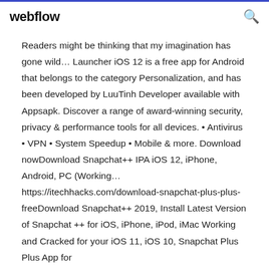webflow
Readers might be thinking that my imagination has gone wild… Launcher iOS 12 is a free app for Android that belongs to the category Personalization, and has been developed by LuuTinh Developer available with Appsapk. Discover a range of award-winning security, privacy & performance tools for all devices. • Antivirus • VPN • System Speedup • Mobile & more. Download nowDownload Snapchat++ IPA iOS 12, iPhone, Android, PC (Working… https://itechhacks.com/download-snapchat-plus-plus-freeDownload Snapchat++ 2019, Install Latest Version of Snapchat ++ for iOS, iPhone, iPod, iMac Working and Cracked for your iOS 11, iOS 10, Snapchat Plus Plus App for